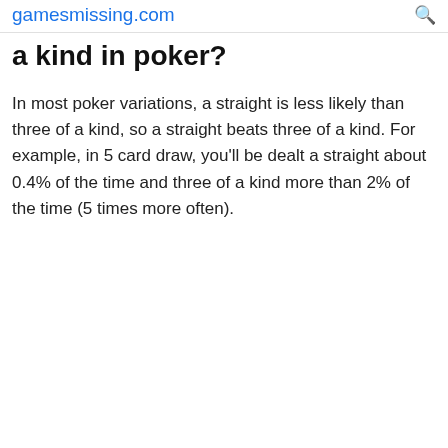gamesmissing.com
a kind in poker?
In most poker variations, a straight is less likely than three of a kind, so a straight beats three of a kind. For example, in 5 card draw, you'll be dealt a straight about 0.4% of the time and three of a kind more than 2% of the time (5 times more often).